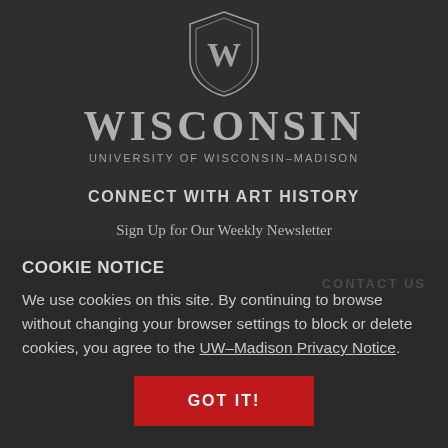[Figure (logo): University of Wisconsin-Madison crest/shield logo with 'W' emblem, text WISCONSIN and UNIVERSITY OF WISCONSIN-MADISON]
CONNECT WITH ART HISTORY
Sign Up for Our Weekly Newsletter
Submit Your News Here!
CONTACT US
COOKIE NOTICE
We use cookies on this site. By continuing to browse without changing your browser settings to block or delete cookies, you agree to the UW–Madison Privacy Notice.
GOT IT!